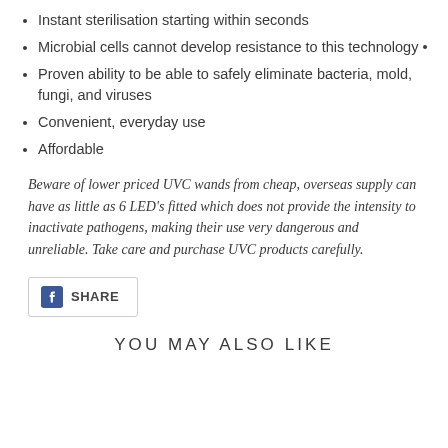Instant sterilisation starting within seconds
Microbial cells cannot develop resistance to this technology •
Proven ability to be able to safely eliminate bacteria, mold, fungi, and viruses
Convenient, everyday use
Affordable
Beware of lower priced UVC wands from cheap, overseas supply can have as little as 6 LED's fitted which does not provide the intensity to inactivate pathogens, making their use very dangerous and unreliable. Take care and purchase UVC products carefully.
[Figure (other): Facebook Share button with 'f' logo and SHARE text, bordered rectangle]
YOU MAY ALSO LIKE